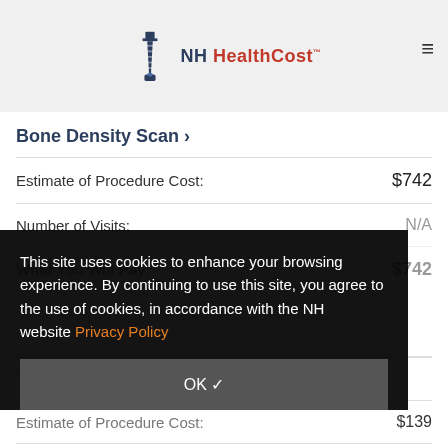NH HealthCost
Bone Density Scan >
|  |  |
| --- | --- |
| Estimate of Procedure Cost: | $742 |
| Number of Visits: | N/A |
| What You Will Pay: | $742 |
This site uses cookies to enhance your browsing experience. By continuing to use this site, you agree to the use of cookies, in accordance with the NH website Privacy Policy
OK ✓
Estimate of Procedure Cost: $139
Number of Visits: N/A